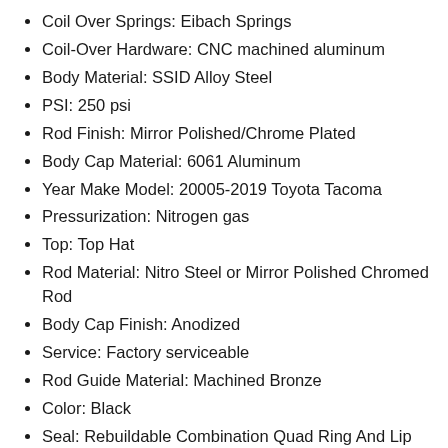Coil Over Springs: Eibach Springs
Coil-Over Hardware: CNC machined aluminum
Body Material: SSID Alloy Steel
PSI: 250 psi
Rod Finish: Mirror Polished/Chrome Plated
Body Cap Material: 6061 Aluminum
Year Make Model: 20005-2019 Toyota Tacoma
Pressurization: Nitrogen gas
Top: Top Hat
Rod Material: Nitro Steel or Mirror Polished Chromed Rod
Body Cap Finish: Anodized
Service: Factory serviceable
Rod Guide Material: Machined Bronze
Color: Black
Seal: Rebuildable Combination Quad Ring And Lip Seal
Mount: OE Location And Hardware
Bearing Size: OE determined
Oil: Radflo high-temp foam resistant suspension fluid